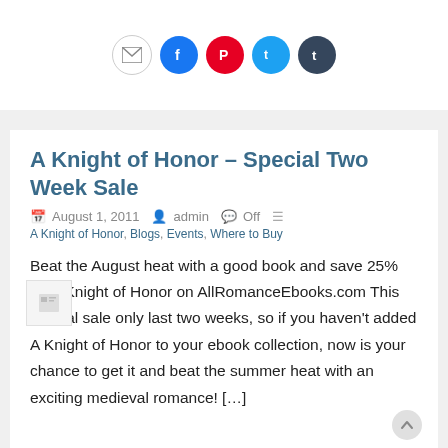[Figure (infographic): Social share icons: email, Facebook, Pinterest, Twitter, Tumblr]
A Knight of Honor – Special Two Week Sale
August 1, 2011   admin   Off   A Knight of Honor, Blogs, Events, Where to Buy
Beat the August heat with a good book and save 25% on A Knight of Honor on AllRomanceEbooks.com This special sale only last two weeks, so if you haven't added A Knight of Honor to your ebook collection, now is your chance to get it and beat the summer heat with an exciting medieval romance! […]